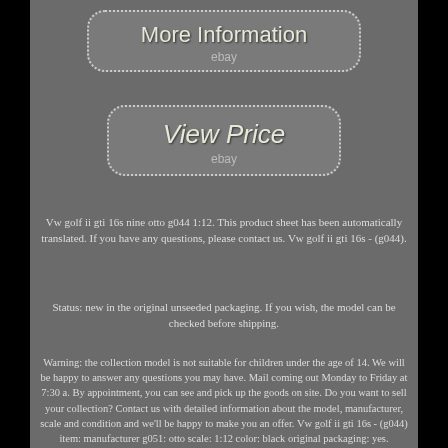[Figure (screenshot): Button with dotted border: 'More Information' with 'ebay' subtitle]
[Figure (screenshot): Button with dotted border: 'View Price' with 'ebay' subtitle]
Vw golf ii gti 16s nine otto g044 1:12. This product sheet has been automatically translated. If you have any questions, please contact us. Vw golf ii gti 16s - (g044).
Status: new in the original unseeded packaging. If you wish, the model can be checked before shipping.
Warning: the collection model is not suitable for children under the age of 14. We will be happy to answer any questions you may have. Mail coming out Monday to Friday at 7:30 a. By appointment, you can see and pick up the goods on site. Do you want to sell your collection? Contact us with detailed information about the model, manufacturer, scale and condition and we'll be happy to make you an offer. Vw golf ii gti 16s - (g044) item: manufacturer g051: otto scale: 1:12 color: black original packaging: yes.
Mail coming out Monday to Friday at 7:30 a. Warehouse sale by appointment, you can see and retrieve the goods on site.
The item "vw golf ii gti 16s new otto g044 112" is on sale since Saturday, January 2, 2021. It is in the category "toys and games-other miniature vehicles". The seller is "this-modellhandel" and is located in